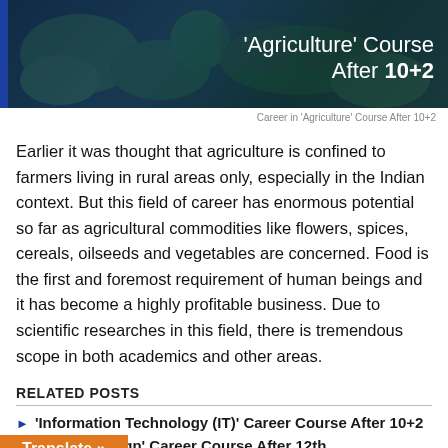[Figure (photo): Hero image of agriculture/plants with dark overlay, showing title 'Agriculture' Course After 10+2 in white text on right side]
Career in 'Agriculture' Course After 10+2
Earlier it was thought that agriculture is confined to farmers living in rural areas only, especially in the Indian context. But this field of career has enormous potential so far as agricultural commodities like flowers, spices, cereals, oilseeds and vegetables are concerned. Food is the first and foremost requirement of human beings and it has become a highly profitable business. Due to scientific researches in this field, there is tremendous scope in both academics and other areas.
RELATED POSTS
'Information Technology (IT)' Career Course After 10+2
'Multimedia Design' Career Course After 12th